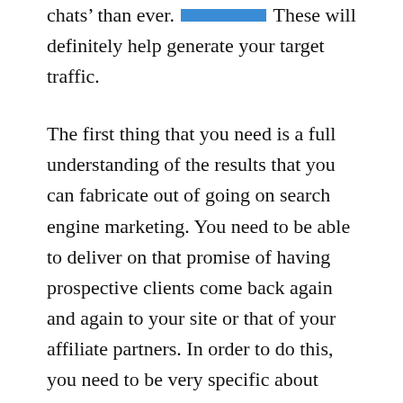chats than ever. [link] These will definitely help generate your target traffic.
The first thing that you need is a full understanding of the results that you can fabricate out of going on search engine marketing. You need to be able to deliver on that promise of having prospective clients come back again and again to your site or that of your affiliate partners. In order to do this, you need to be very specific about what you want to achieve, you need to state the benefits clearly so that the prospect sees them clearly.
Customer's importance and comfort with one's business is still a major factor and search engine marketing is still the most apt way of